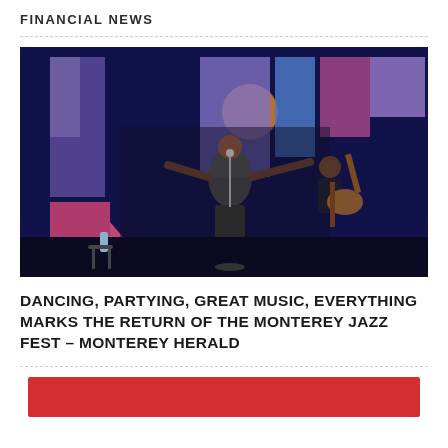FINANCIAL NEWS
[Figure (photo): Two performers on stage at the Monterey Jazz Festival. A woman singer stands center with arms outstretched, and a guitarist plays behind her. Colorful geometric shapes form the backdrop.]
DANCING, PARTYING, GREAT MUSIC, EVERYTHING MARKS THE RETURN OF THE MONTEREY JAZZ FEST – MONTEREY HERALD
[Figure (photo): Partial red banner or image block at the bottom of the page]